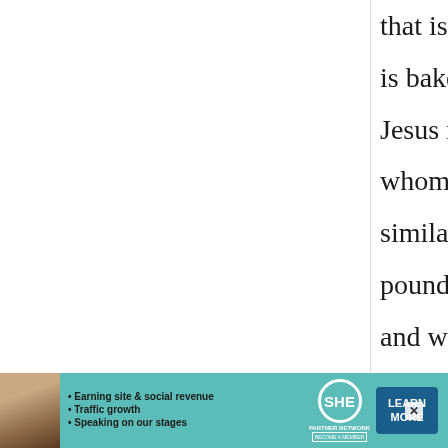that is often coloured festively and is baked with a charm of a baby Jesus in it and it's good to be whomever gets the charm. It's similar to the tradition of putting a pound coin in a Christmas pudding and whomever gets that in their portion will have good fortune.
[Figure (infographic): Advertisement banner for SHE Media Partner Network featuring a woman's photo, bullet points about earning site & social revenue, traffic growth, speaking on our stages, SHE partner network logo, and a Learn More button]